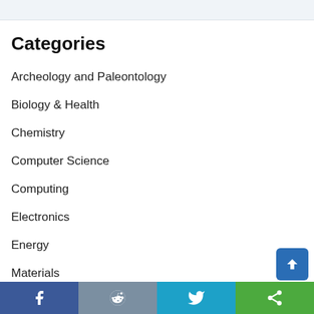Categories
Archeology and Paleontology
Biology & Health
Chemistry
Computer Science
Computing
Electronics
Energy
Materials
Facebook | Reddit | Twitter | Share